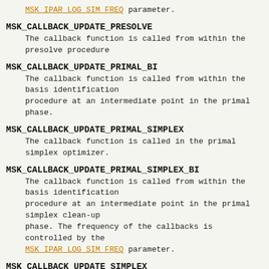MSK_IPAR_LOG_SIM_FREQ parameter.
MSK_CALLBACK_UPDATE_PRESOLVE
The callback function is called from within the presolve procedure
MSK_CALLBACK_UPDATE_PRIMAL_BI
The callback function is called from within the basis identification procedure at an intermediate point in the primal phase.
MSK_CALLBACK_UPDATE_PRIMAL_SIMPLEX
The callback function is called in the primal simplex optimizer.
MSK_CALLBACK_UPDATE_PRIMAL_SIMPLEX_BI
The callback function is called from within the basis identification procedure at an intermediate point in the primal simplex clean-up phase. The frequency of the callbacks is controlled by the MSK_IPAR_LOG_SIM_FREQ parameter.
MSK_CALLBACK_UPDATE_SIMPLEX
The callback function is called from simplex optimizer.
MSK_CALLBACK_WRITE_OPF